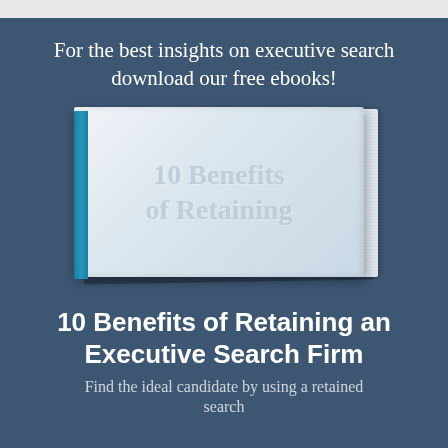For the best insights on executive search download our free ebooks!
[Figure (illustration): 3D rendered ebook cover titled '10 Benefits of Retaining' with a teal spine, white cover with embossed text, and page edges visible on the right side, set against a dark blue-grey background.]
10 Benefits of Retaining an Executive Search Firm
Find the ideal candidate by using a retained search